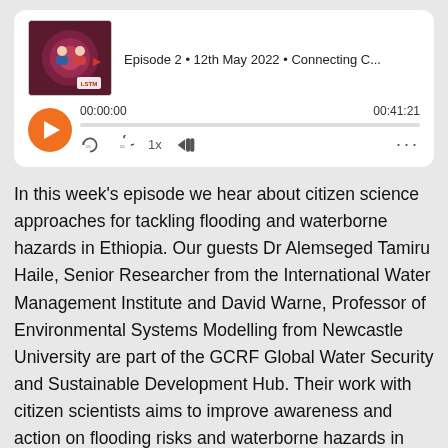[Figure (screenshot): Podcast player UI showing episode thumbnail, episode title 'Episode 2 • 12th May 2022 • Connecting C...', playback time 00:00:00 / 00:41:21, orange play button, progress bar, and playback controls (rewind, forward, 1x speed, volume, more options)]
In this week's episode we hear about citizen science approaches for tackling flooding and waterborne hazards in Ethiopia. Our guests Dr Alemseged Tamiru Haile, Senior Researcher from the International Water Management Institute and David Warne, Professor of Environmental Systems Modelling from Newcastle University are part of the GCRF Global Water Security and Sustainable Development Hub. Their work with citizen scientists aims to improve awareness and action on flooding risks and waterborne hazards in Ethiopia through co-creation of knowledge and development of new management systems for water. Our guests will